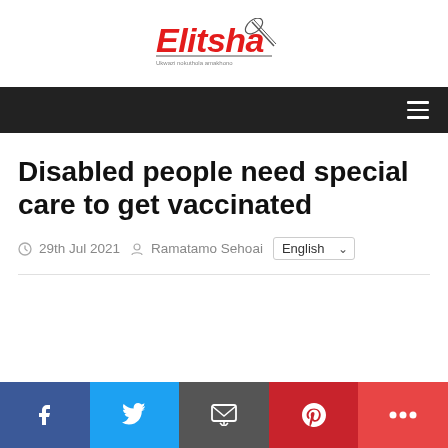[Figure (logo): Elitsha logo with red italic text and pen/quill graphic]
Navigation bar with hamburger menu icon
Disabled people need special care to get vaccinated
29th Jul 2021  Ramatamo Sehoai  English
Social share buttons: Facebook, Twitter, Email, Pinterest, More